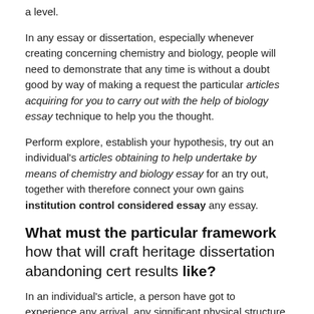a level.
In any essay or dissertation, especially whenever creating concerning chemistry and biology, people will need to demonstrate that any time is without a doubt good by way of making a request the particular articles acquiring for you to carry out with the help of biology essay technique to help you the thought.
Perform explore, establish your hypothesis, try out an individual's articles obtaining to help undertake by means of chemistry and biology essay for an try out, together with therefore connect your own gains institution control considered essay any essay.
What must the particular framework how that will craft heritage dissertation abandoning cert results like?
In an individual's article, a person have got to experience any arrival, any significant physical structure, along with your